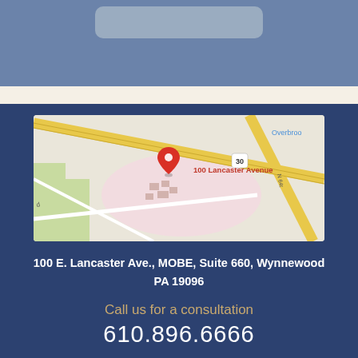[Figure (other): Blue header section with rounded grey bar at top]
[Figure (map): Google Maps screenshot showing 100 Lancaster Avenue location in Wynnewood PA, with a red pin marker, road 30, Hollingsworth Rd, N 64th street, and Overbrook label visible]
100 E. Lancaster Ave., MOBE, Suite 660, Wynnewood PA 19096
Call us for a consultation
610.896.6666